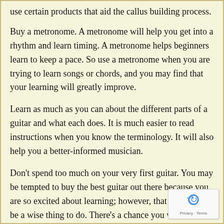use certain products that aid the callus building process.
Buy a metronome. A metronome will help you get into a rhythm and learn timing. A metronome helps beginners learn to keep a pace. So use a metronome when you are trying to learn songs or chords, and you may find that your learning will greatly improve.
Learn as much as you can about the different parts of a guitar and what each does. It is much easier to read instructions when you know the terminology. It will also help you a better-informed musician.
Don't spend too much on your very first guitar. You may be tempted to buy the best guitar out there because you are so excited about learning; however, that would not be a wise thing to do. There's a chance you won't even enjoy the guitar. Also, you can get great sound out of an inexpensive gu... You just need to know that you want to make that kind investment instead of merely guessing you do.